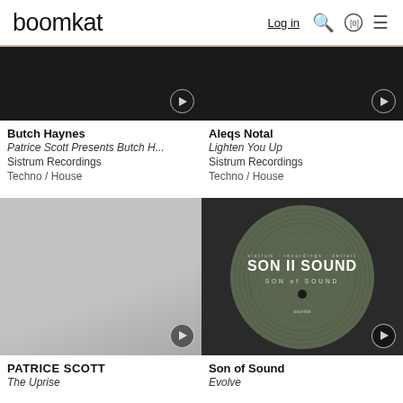boomkat | Log in | [0]
[Figure (photo): Dark album cover thumbnail for Butch Haynes with play button]
Butch Haynes
Patrice Scott Presents Butch H...
Sistrum Recordings
Techno / House
[Figure (photo): Dark album cover thumbnail for Aleqs Notal with play button]
Aleqs Notal
Lighten You Up
Sistrum Recordings
Techno / House
[Figure (photo): Gray album cover thumbnail for Patrice Scott / The Uprise with play button]
PATRICE SCOTT
The Uprise
[Figure (photo): Vinyl record image for Son of Sound / Evolve on olive green background with play button]
Son of Sound
Evolve